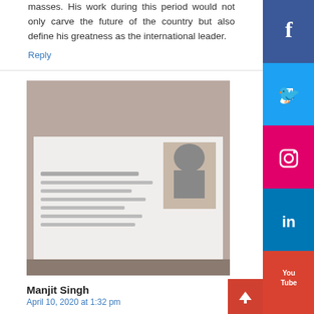masses. His work during this period would not only carve the future of the country but also define his greatness as the international leader.
Reply
[Figure (photo): Photo showing a document or identity card with a portrait photo of a person wearing a turban, with text below.]
Manjit Singh
April 10, 2020 at 1:32 pm
I'm overjoyed to say the least.
Reply
[Figure (photo): Partial photo of a person (man's face and upper body) at the bottom of the page.]
[Figure (infographic): Social media share buttons sidebar: Facebook (blue), Twitter (light blue), Instagram (pink/magenta), LinkedIn (blue), YouTube (red).]